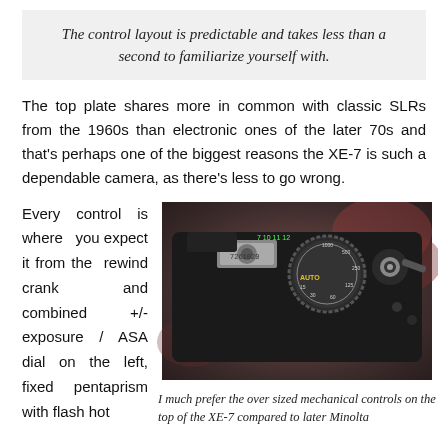The control layout is predictable and takes less than a second to familiarize yourself with.
The top plate shares more in common with classic SLRs from the 1960s than electronic ones of the later 70s and that's perhaps one of the biggest reasons the XE-7 is such a dependable camera, as there's less to go wrong.
Every control is where you expect it from the rewind crank and combined +/- exposure / ASA dial on the left, fixed pentaprism with flash hot
[Figure (photo): Top-down view of a Minolta XE-7 camera top plate showing the shutter speed dial, film advance lever, hot shoe, and various controls against a reddish-brown blurred background.]
I much prefer the over sized mechanical controls on the top of the XE-7 compared to later Minolta